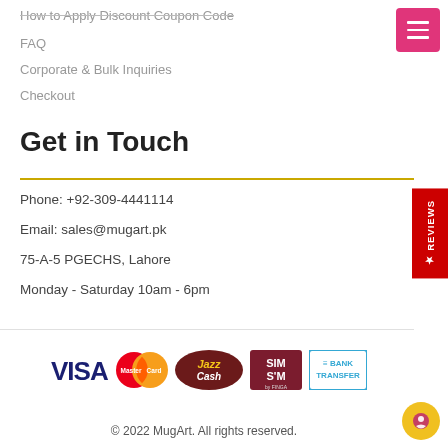How to Apply Discount Coupon Code
FAQ
Corporate & Bulk Inquiries
Checkout
Get in Touch
Phone: +92-309-4441114
Email: sales@mugart.pk
75-A-5 PGECHS, Lahore
Monday - Saturday 10am - 6pm
[Figure (logo): Payment method logos: VISA, MasterCard, JazzCash, SimSim by Finga, Bank Transfer]
© 2022 MugArt. All rights reserved.